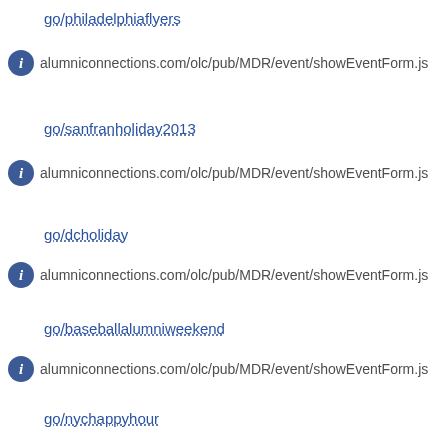go/philadelphiaflyers
alumniconnections.com/olc/pub/MDR/event/showEventForm.js
go/sanfranholiday2013
alumniconnections.com/olc/pub/MDR/event/showEventForm.js
go/dcholiday
alumniconnections.com/olc/pub/MDR/event/showEventForm.js
go/baseballalumniweekend
alumniconnections.com/olc/pub/MDR/event/showEventForm.js
go/nychappyhour
alumniconnections.com/olc/pub/MDR/event/showEventForm.js
go/youngalumnihappyhours
alumniconnections.com/olc/pub/MDR/event/showEventForm.js